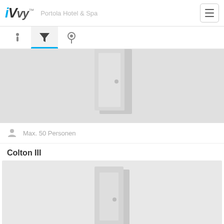iVvy - Portola Hotel & Spa
[Figure (screenshot): Tab navigation bar with info (i), filter (funnel icon), and location (pin) icons. Filter tab is active with blue underline.]
[Figure (photo): Gray placeholder image of a meeting room with a door visible, partially cropped at top.]
Max. 50 Personen
Colton III
[Figure (photo): Gray placeholder image of a meeting room with a door visible for Colton III.]